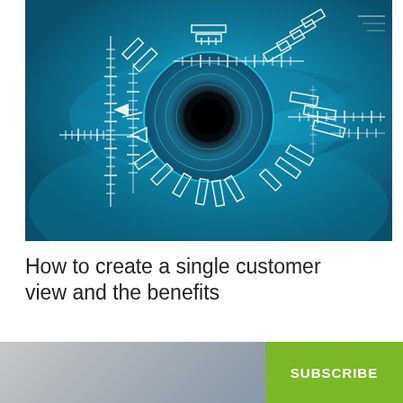[Figure (photo): Close-up of a human eye with digital/biometric scanning overlay graphics in teal and white, suggesting technology, identity recognition or data analytics.]
How to create a single customer view and the benefits
[Figure (photo): Bottom strip showing a partial photo of a person's face on the left, and a green SUBSCRIBE button on the right.]